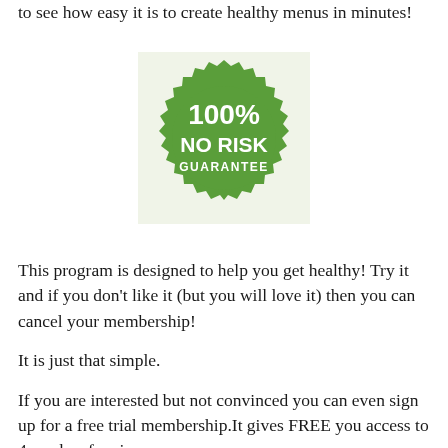to see how easy it is to create healthy menus in minutes!
[Figure (illustration): Green starburst/seal badge with white text reading '100% NO RISK GUARANTEE']
This program is designed to help you get healthy! Try it and if you don't like it (but you will love it) then you can cancel your membership!
It is just that simple.
If you are interested but not convinced you can even sign up for a free trial membership.It gives FREE you access to 4 weeks of recipes so you can